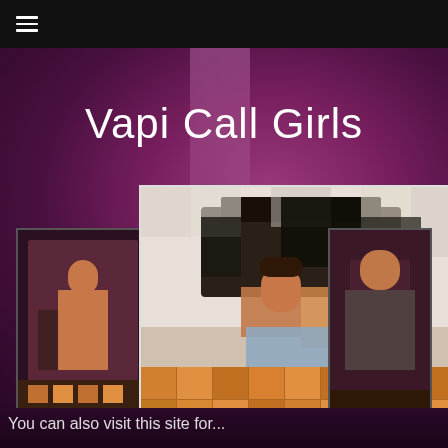≡ (hamburger menu)
Vapi Call Girls
[Figure (photo): Left side thumbnail showing partial escort profile image with 'esc' text label visible at bottom]
[Figure (photo): Center main image showing a blurred/pixelated photo of a person seated, with escortbook.com watermark at the bottom]
[Figure (photo): Right side thumbnail showing partial escort profile image]
You can also visit this site for...